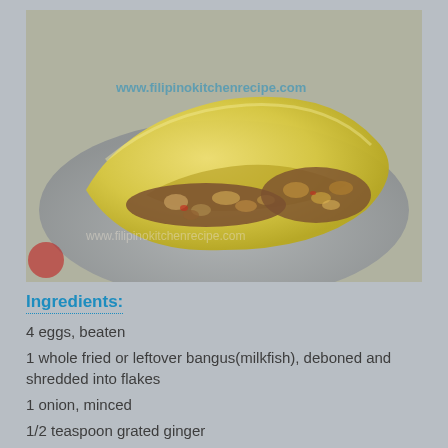[Figure (photo): A folded omelette filled with bangus (milkfish) flakes and vegetables, served on a grey plate. Watermark text 'www.filipinokitchenrecipe.com' visible on the photo.]
Ingredients:
4 eggs, beaten
1 whole fried or leftover bangus(milkfish), deboned and shredded into flakes
1 onion, minced
1/2 teaspoon grated ginger